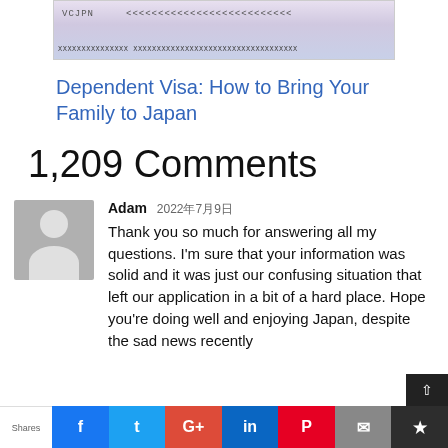[Figure (photo): Partial view of a Japanese dependent visa (VCJPN) sticker with machine-readable zone]
Dependent Visa: How to Bring Your Family to Japan
1,209 Comments
Adam 2022年7月9日
Thank you so much for answering all my questions. I'm sure that your information was solid and it was just our confusing situation that left our application in a bit of a hard place. Hope you're doing well and enjoying Japan, despite the sad news recently
Shares | f | t | G+ | in | P | mail | bookmark